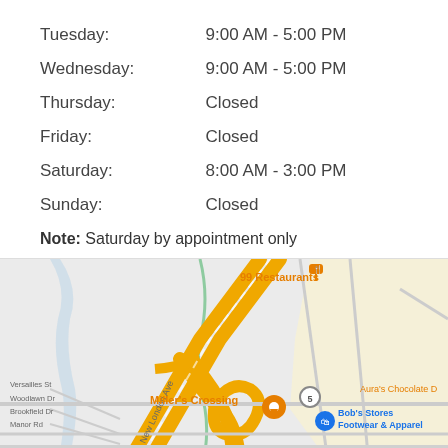| Day | Hours |
| --- | --- |
| Tuesday: | 9:00 AM - 5:00 PM |
| Wednesday: | 9:00 AM - 5:00 PM |
| Thursday: | Closed |
| Friday: | Closed |
| Saturday: | 8:00 AM - 3:00 PM |
| Sunday: | Closed |
Note: Saturday by appointment only
[Figure (map): Google Maps screenshot showing the area around Miller's Crossing with nearby locations including 99 Restaurants, Bob's Stores Footwear & Apparel, Marshalls, Aura's Chocolate, Angel Limousine, and street names including New London Ave, Rose Hill Dr, Oak Hill Dr, Bateman Ave, Versailles St, Woodlawn Dr, Brookfield Dr, Manor Rd, Laura Cir.]